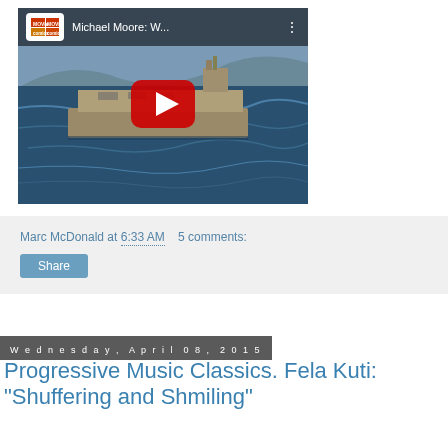[Figure (screenshot): YouTube video embed showing a military aircraft carrier at sea with a red play button overlay. Video title shows 'Michael Moore: W...' with a movie/comics channel logo in top left corner.]
Marc McDonald at 6:33 AM   5 comments:
Share
Wednesday, April 08, 2015
Progressive Music Classics. Fela Kuti: "Shuffering and Shmiling"